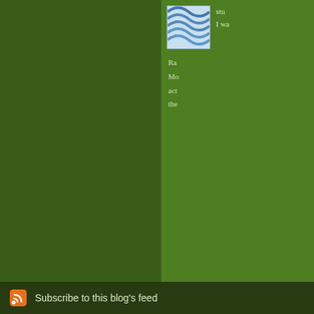[Figure (screenshot): Blog webpage screenshot with dark green background. Right sidebar shows a profile avatar image with wavy blue lines pattern, partially visible text starting with 'stu', 'I wa', then lines starting with 'Ra', 'Mo', 'act', 'the'. Below is a 'The comments to t' bar. Further down is a 'Pl' navigation text. Then a rounded box with bold title 'Behind the Wheel' and body text 'from the backseat,' and 'steer, especially fro'. Footer bar has RSS icon and 'Subscribe to this blog's feed' text.]
stu
I wa
Ra
Mo
act
the
The comments to t
Pl
Behind the Wheel
from the backseat,
steer, especially fro
Subscribe to this blog's feed